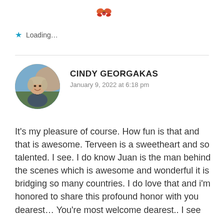[Figure (illustration): Small decorative icon/emoji at top of page resembling a colorful bird or butterfly]
★ Loading...
CINDY GEORGAKAS
January 9, 2022 at 6:18 pm
[Figure (photo): Circular avatar photo of a woman with blonde hair smiling, outdoor background with warm tones]
It's my pleasure of course. How fun is that and that is awesome. Terveen is a sweetheart and so talented. I see. I do know Juan is the man behind the scenes which is awesome and wonderful it is bridging so many countries. I do love that and i'm honored to share this profound honor with you dearest... You're most welcome dearest.. I see